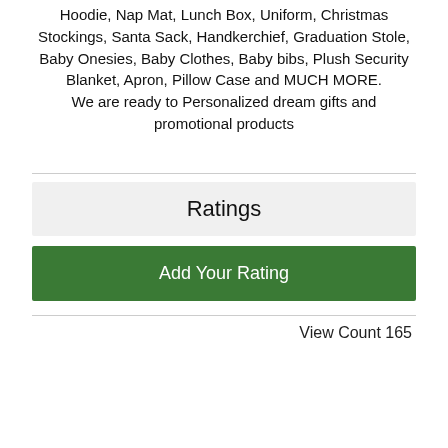Hoodie, Nap Mat, Lunch Box, Uniform, Christmas Stockings, Santa Sack, Handkerchief, Graduation Stole, Baby Onesies, Baby Clothes, Baby bibs, Plush Security Blanket, Apron, Pillow Case and MUCH MORE.
We are ready to Personalized dream gifts and promotional products
Ratings
Add Your Rating
View Count 165